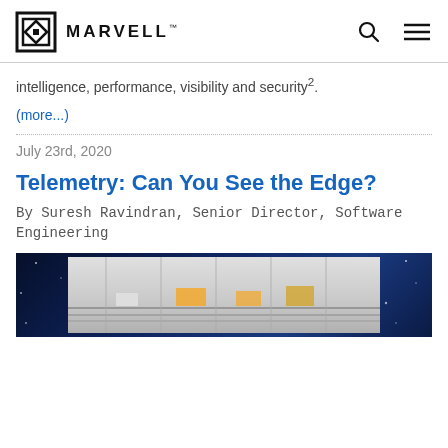MARVELL
intelligence, performance, visibility and security2.
(more...)
July 23rd, 2020
Telemetry: Can You See the Edge?
By Suresh Ravindran, Senior Director, Software Engineering
[Figure (photo): Factory/industrial setting with conveyor belts and equipment, shown inside a dark blue background with stars/sparkles effect]